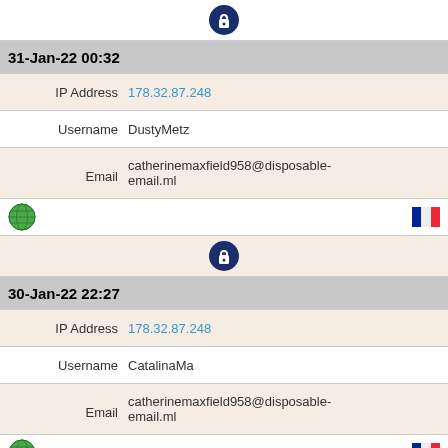[Figure (other): Lock/privacy icon (blue circle with white lock)]
31-Jan-22 00:32
IP Address  178.32.87.248
Username  DustyMetz
Email  catherinemaxfield958@disposable-email.ml
[Figure (other): Globe icon and French flag]
[Figure (other): Lock/privacy icon (blue circle with white lock)]
30-Jan-22 22:27
IP Address  178.32.87.248
Username  CatalinaMa
Email  catherinemaxfield958@disposable-email.ml
[Figure (other): Globe icon and French flag]
[Figure (other): Lock/privacy icon (blue circle with white lock)]
30-Jan-22 21:37
IP Address  178.32.87.248
Username  WendyH3798